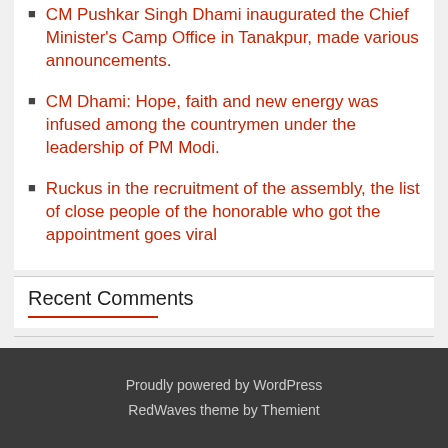CM Pushkar Singh Dhami inaugurated the Chief Minister's Camp Office in Tanakpur, made various announcements.
CM Dhami: Hope, faith and new energy was infused among the countrymen under the leadership of PM Modi.
Ruckus in the recruitment of the assembly, the list of close people of the honorable who got the appointment goes viral
Recent Comments
Proudly powered by WordPress RedWaves theme by Themient